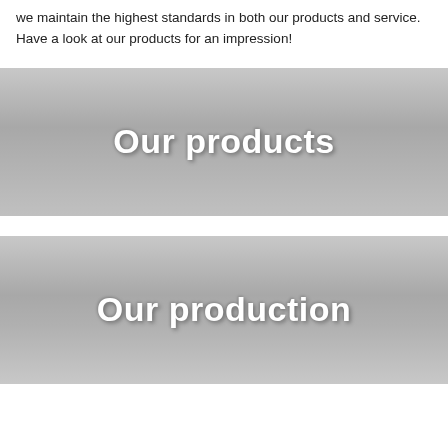we maintain the highest standards in both our products and service. Have a look at our products for an impression!
[Figure (other): Gray gradient banner with bold white text reading 'Our products']
[Figure (other): Gray gradient banner with bold white text reading 'Our production']